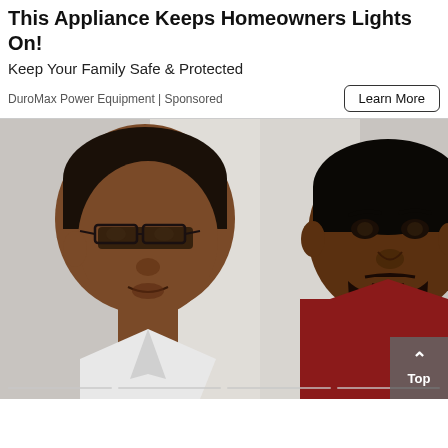This Appliance Keeps Homeowners Lights On!
Keep Your Family Safe & Protected
DuroMax Power Equipment | Sponsored
[Figure (photo): Two men facing each other, one wearing glasses and a white shirt on the left, one in a dark red shirt on the right, against a light background. Scroll progress indicators visible at bottom.]